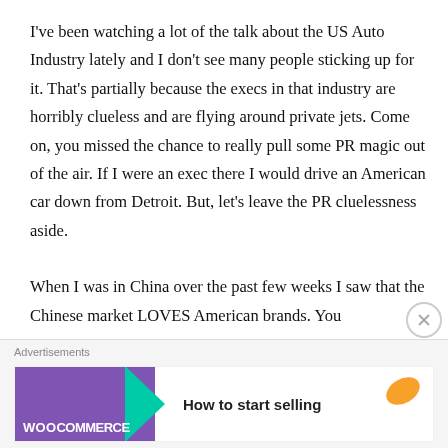I've been watching a lot of the talk about the US Auto Industry lately and I don't see many people sticking up for it. That's partially because the execs in that industry are horribly clueless and are flying around private jets. Come on, you missed the chance to really pull some PR magic out of the air. If I were an exec there I would drive an American car down from Detroit. But, let's leave the PR cluelessness aside.

When I was in China over the past few weeks I saw that the Chinese market LOVES American brands. You
[Figure (other): Advertisement bar at bottom: WooCommerce ad with purple background, teal arrow, orange leaf graphic, and text 'How to start selling'. Close (X) button overlaid on the right side.]